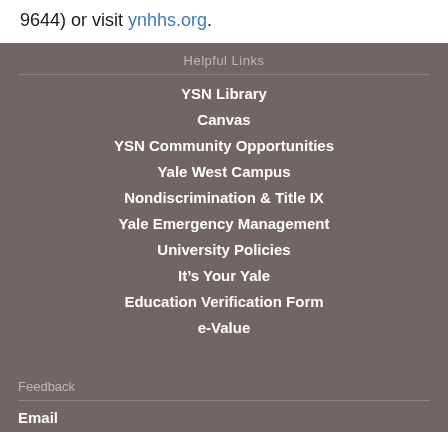9644) or visit ynhhs.org.
Helpful Links
YSN Library
Canvas
YSN Community Opportunities
Yale West Campus
Nondiscrimination & Title IX
Yale Emergency Management
University Policies
It’s Your Yale
Education Verification Form
e-Value
Feedback
Email